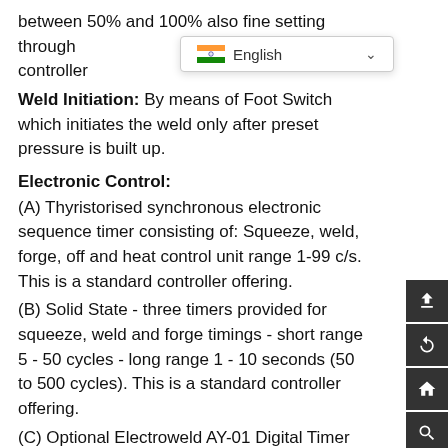between 50% and 100% also fine setting through controller
Weld Initiation: By means of Foot Switch which initiates the weld only after preset pressure is built up.
Electronic Control:
(A) Thyristorised synchronous electronic sequence timer consisting of: Squeeze, weld, forge, off and heat control unit range 1-99 c/s. This is a standard controller offering.
(B) Solid State - three timers provided for squeeze, weld and forge timings - short range 5 - 50 cycles - long range 1 - 10 seconds (50 to 500 cycles). This is a standard controller offering.
(C) Optional Electroweld AY-01 Digital Timer with capability to store upto 25 different weld schedules. This option will replace the standard controller at an additional cost.
(D) Optional Forwel AK-54V Constant Current Digital Controller with capability to store and recall upto 15 different weld schedules (additional cost). This